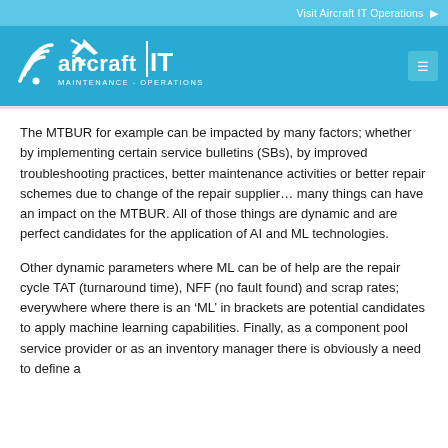Visit Aircraft IT Operations →
[Figure (logo): Aircraft IT Maintenance - Operations logo with airplane icon on blue background]
The MTBUR for example can be impacted by many factors; whether by implementing certain service bulletins (SBs), by improved troubleshooting practices, better maintenance activities or better repair schemes due to change of the repair supplier… many things can have an impact on the MTBUR. All of those things are dynamic and are perfect candidates for the application of AI and ML technologies.
Other dynamic parameters where ML can be of help are the repair cycle TAT (turnaround time), NFF (no fault found) and scrap rates; everywhere where there is an 'ML' in brackets are potential candidates to apply machine learning capabilities. Finally, as a component pool service provider or as an inventory manager there is obviously a need to define a